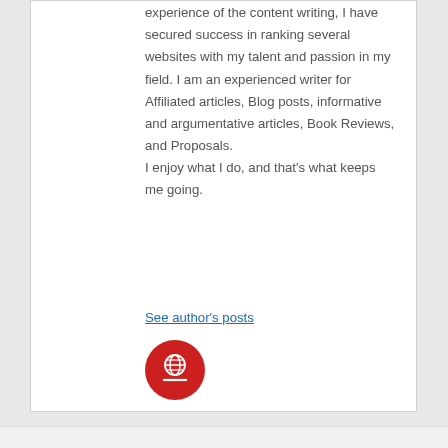experience of the content writing, I have secured success in ranking several websites with my talent and passion in my field. I am an experienced writer for Affiliated articles, Blog posts, informative and argumentative articles, Book Reviews, and Proposals.
I enjoy what I do, and that's what keeps me going.
See author's posts
[Figure (illustration): Red circular avatar icon with a small globe/person silhouette in white]